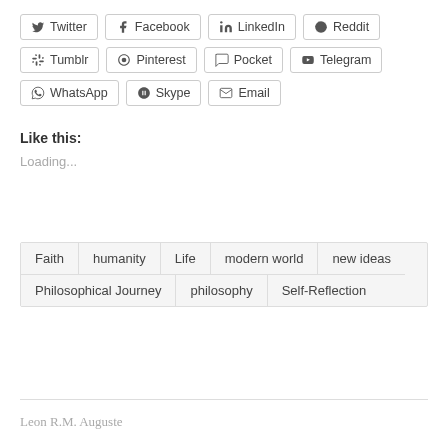[Figure (screenshot): Social media share buttons: Twitter, Facebook, LinkedIn, Reddit, Tumblr, Pinterest, Pocket, Telegram, WhatsApp, Skype, Email]
Like this:
Loading...
Faith
humanity
Life
modern world
new ideas
Philosophical Journey
philosophy
Self-Reflection
Leon R.M. Auguste